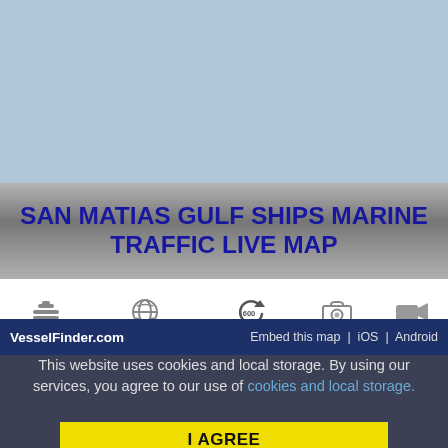[Figure (screenshot): Light blue background representing a marine traffic map area]
SAN MATIAS GULF SHIPS MARINE TRAFFIC LIVE MAP
[Figure (screenshot): Toolbar with icons: Dual Track, Google Maps, Refresh Map (600), Photos, Videos]
[Figure (screenshot): Dropdown selector: SELECT MAP BY SHIP TYPE]
Can't see ships on the map? Try DualTrack
VesselFinder.com   Embed this map  |  iOS  |  Android
This website uses cookies and local storage. By using our services, you agree to our use of cookies and local storage.
I AGREE